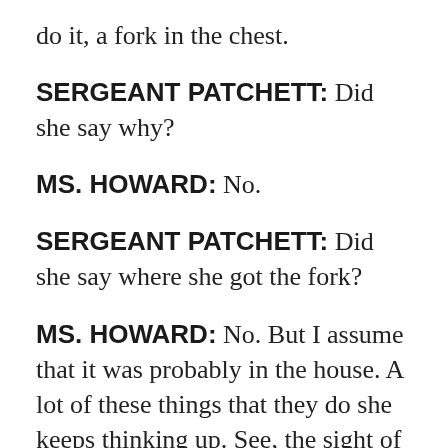do it, a fork in the chest.
SERGEANT PATCHETT: Did she say why?
MS. HOWARD: No.
SERGEANT PATCHETT: Did she say where she got the fork?
MS. HOWARD: No. But I assume that it was probably in the house. A lot of these things that they do she keeps thinking up. See, the sight of blood